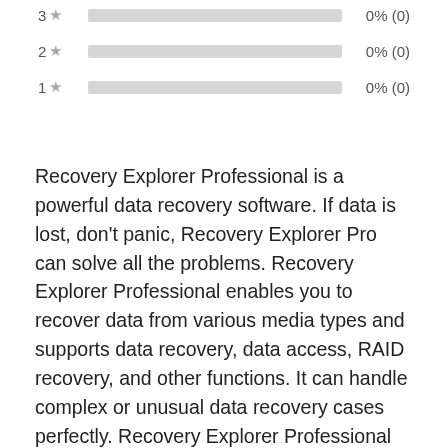[Figure (bar-chart): Star ratings]
Recovery Explorer Professional is a powerful data recovery software. If data is lost, don't panic, Recovery Explorer Pro can solve all the problems. Recovery Explorer Professional enables you to recover data from various media types and supports data recovery, data access, RAID recovery, and other functions. It can handle complex or unusual data recovery cases perfectly. Recovery Explorer Professional can work on Windows, Linux, and macOS, and it has a built-in toolkit, which contains enough tools to manage the most complex data recovery tasks: restoring files from RAID, multi-level or encrypted storage and virtual machines, using specific technologies, manual hexadecimal